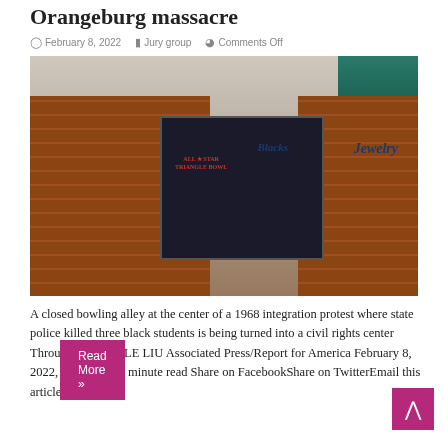Orangeburg massacre
February 8, 2022   Jury group   Comments Off
[Figure (photo): Exterior photo of a closed bowling alley building with brick facade, showing 'All Star Triangle Bowl' signage and 'Blacks Jewelry' store next door.]
A closed bowling alley at the center of a 1968 integration protest where state police killed three black students is being turned into a civil rights center Through MICHELLE LIU Associated Press/Report for America February 8, 2022, 8:40 a.m. • 4 minute read Share on FacebookShare on TwitterEmail this article …
Read More »